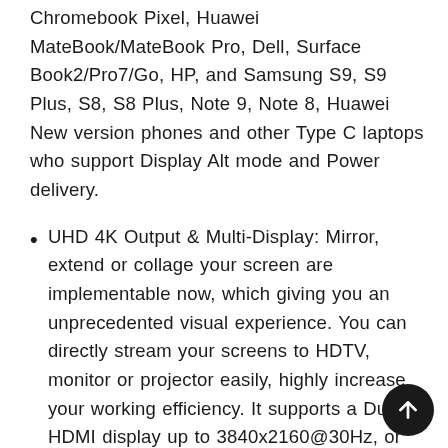Chromebook Pixel, Huawei MateBook/MateBook Pro, Dell, Surface Book2/Pro7/Go, HP, and Samsung S9, S9 Plus, S8, S8 Plus, Note 9, Note 8, Huawei New version phones and other Type C laptops who support Display Alt mode and Power delivery.
UHD 4K Output & Multi-Display: Mirror, extend or collage your screen are implementable now, which giving you an unprecedented visual experience. You can directly stream your screens to HDTV, monitor or projector easily, highly increase your working efficiency. It supports a Dual HDMI display up to 3840x2160@30Hz, or 1920x1080@60Hz with VGA. If you want to kno more about resolution for each connected